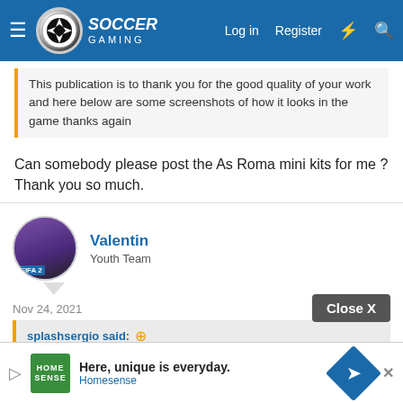Soccer Gaming – Log in | Register
This publication is to thank you for the good quality of your work and here below are some screenshots of how it looks in the game thanks again
Can somebody please post the As Roma mini kits for me ? Thank you so much.
Valentin – Youth Team
Nov 24, 2021  #585
splashsergio said: ↑
FIX it
View attachment 80101
Can you ... you.
Here, unique is everyday. Homesense